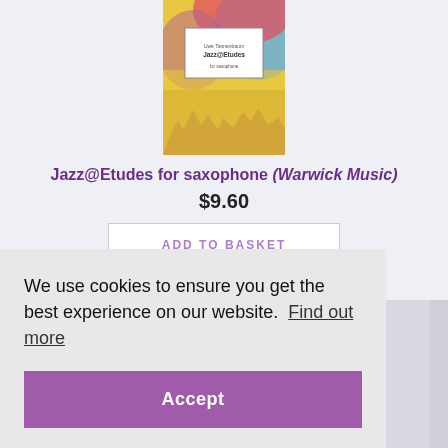[Figure (photo): Book cover of Jazz@Etudes for saxophone (Warwick Music) with colorful abstract background in blue, yellow, red, and pink, with a white label in the center showing the title]
Jazz@Etudes for saxophone (Warwick Music)
$9.60
ADD TO BASKET
We use cookies to ensure you get the best experience on our website.  Find out more
Accept
[Figure (photo): Partial view of another book cover at the bottom of the page]